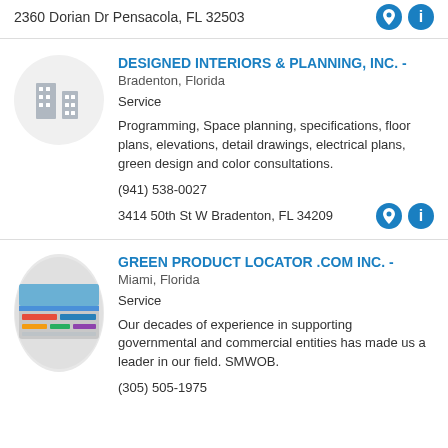2360 Dorian Dr Pensacola, FL 32503
DESIGNED INTERIORS & PLANNING, INC. - Bradenton, Florida
Service
Programming, Space planning, specifications, floor plans, elevations, detail drawings, electrical plans, green design and color consultations.
(941) 538-0027
3414 50th St W Bradenton, FL 34209
GREEN PRODUCT LOCATOR .COM INC. - Miami, Florida
Service
Our decades of experience in supporting governmental and commercial entities has made us a leader in our field. SMWOB.
(305) 505-1975